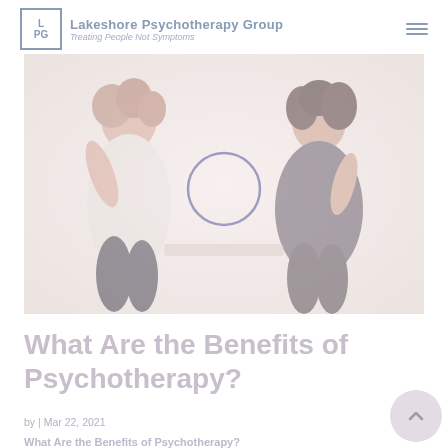Lakeshore Psychotherapy Group — Treating People Not Symptoms
[Figure (photo): Two women sitting across from each other in a therapy session. One woman appears to be listening attentively while the other is speaking. A circular play button icon is overlaid in the center of the image.]
What Are the Benefits of Psychotherapy?
by | Mar 22, 2021
What Are the Benefits of Psychotherapy?